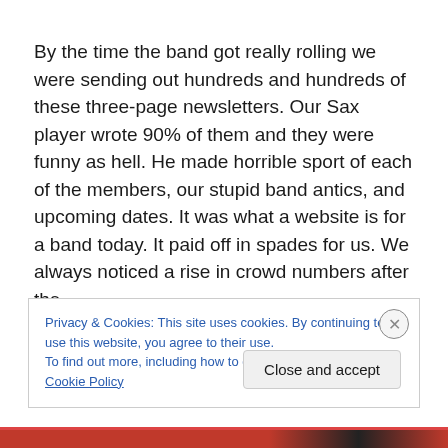By the time the band got really rolling we were sending out hundreds and hundreds of these three-page newsletters. Our Sax player wrote 90% of them and they were funny as hell. He made horrible sport of each of the members, our stupid band antics, and upcoming dates. It was what a website is for a band today. It paid off in spades for us. We always noticed a rise in crowd numbers after the
Privacy & Cookies: This site uses cookies. By continuing to use this website, you agree to their use.
To find out more, including how to control cookies, see here: Cookie Policy